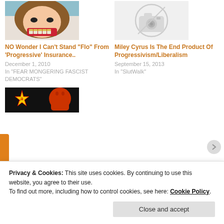[Figure (illustration): Illustrated face with teeth showing, colorful drawing style]
NO Wonder I Can't Stand "Flo" From 'Progressive' Insurance..
December 1, 2010
In "FEAR MONGERING FASCIST DEMOCRATS"
[Figure (photo): Gray camera placeholder icon]
Miley Cyrus Is The End Product Of Progressivism/Liberalism
September 15, 2013
In "SlutWalk"
[Figure (illustration): Black background with communist star and red portrait silhouette]
Privacy & Cookies: This site uses cookies. By continuing to use this website, you agree to their use.
To find out more, including how to control cookies, see here: Cookie Policy
Close and accept